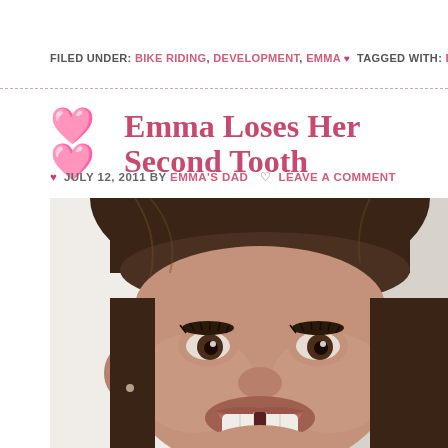FILED UNDER: BIKE RIDING, DEVELOPMENT, EMMA ♥ TAGGED WITH: BIKE RIDI…
Emma Loses Her Second Tooth
♥ JULY 12, 2011 BY EMMA'S DAD ♡ LEAVE A COMMENT
[Figure (photo): Close-up photo of a young girl with dark hair and bangs, smiling to show she has lost her second front tooth. The missing tooth gap is visible in her lower front teeth area. Background is plain white/light gray.]